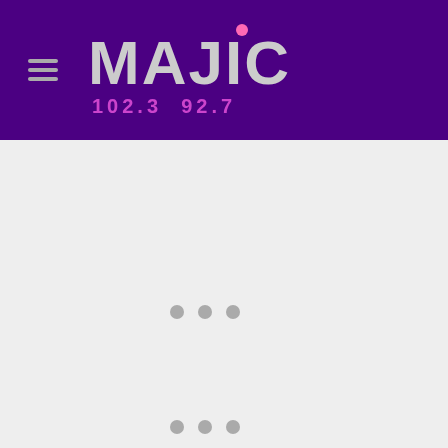MAJIC 102.3 92.7 - radio station website header
[Figure (logo): Majic 102.3 92.7 radio station logo in white/gray text on dark purple background, with pink dot above the i, and pink/purple frequency numbers below]
[Figure (other): Loading spinner dots - three gray circles indicating page content loading, appearing twice on the page]